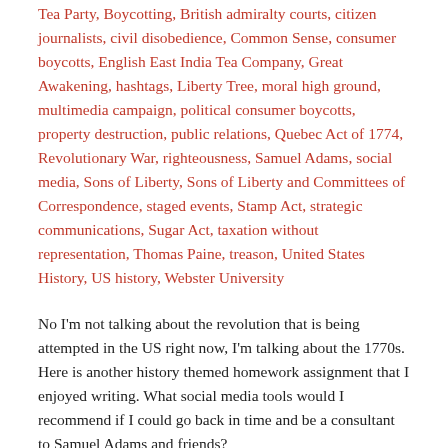Tea Party, Boycotting, British admiralty courts, citizen journalists, civil disobedience, Common Sense, consumer boycotts, English East India Tea Company, Great Awakening, hashtags, Liberty Tree, moral high ground, multimedia campaign, political consumer boycotts, property destruction, public relations, Quebec Act of 1774, Revolutionary War, righteousness, Samuel Adams, social media, Sons of Liberty, Sons of Liberty and Committees of Correspondence, staged events, Stamp Act, strategic communications, Sugar Act, taxation without representation, Thomas Paine, treason, United States History, US history, Webster University
No I'm not talking about the revolution that is being attempted in the US right now, I'm talking about the 1770s. Here is another history themed homework assignment that I enjoyed writing. What social media tools would I recommend if I could go back in time and be a consultant to Samuel Adams and friends?
“Samuel Adams and fellow revolutionaries used many